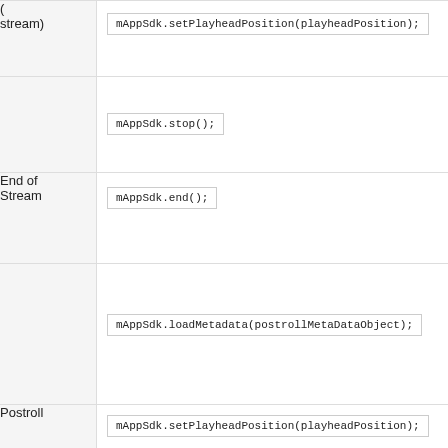| Event | Code |
| --- | --- |
| (stream) | mAppSdk.setPlayheadPosition(playheadPosition); |
|  | mAppSdk.stop(); |
| End of Stream | mAppSdk.end(); |
|  | mAppSdk.loadMetadata(postrollMetaDataObject); |
| Postroll | mAppSdk.setPlayheadPosition(playheadPosition); |